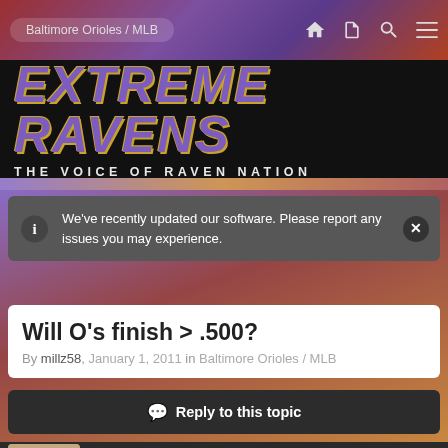Baltimore Orioles / MLB
EXTREME RAVENS
THE VOICE OF RAVEN NATION
We've recently updated our software. Please report any issues you may experience.
Will O's finish > .500?
By millz58, January 1, 2011 in Baltimore Orioles / MLB
Reply to this topic
millz58
Posted January 1, 2011